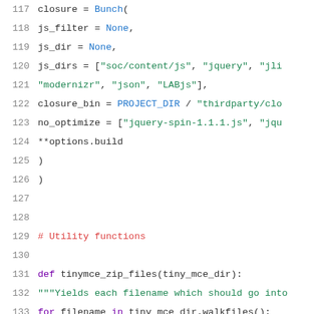117    closure = Bunch(
118        js_filter = None,
119        js_dir = None,
120        js_dirs = ["soc/content/js", "jquery", "jli
121                   "modernizr", "json", "LABjs"],
122        closure_bin = PROJECT_DIR / "thirdparty/clo
123        no_optimize = ["jquery-spin-1.1.1.js", "jqu
124        **options.build
125    )
126  )
127
128
129  # Utility functions
130
131  def tinymce_zip_files(tiny_mce_dir):
132      """Yields each filename which should go into
133      for filename in tiny_mce_dir.walkfiles():
134          if '.svn' in filename.splitall():
135              continue
136
137      paver.tasks.environment.info(